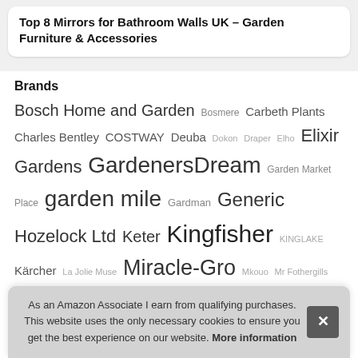Top 8 Mirrors for Bathroom Walls UK – Garden Furniture & Accessories
Brands
Bosch Home and Garden Bosmere Carbeth Plants Charles Bentley COSTWAY Deuba Dokon Draper Elho Elixir Gardens GardenersDream Garden Market Place garden mile Gardman Generic Hozelock Ltd Keter Kingfisher KINGLAKE Kärcher La Jolie Muse Miracle-Gro Mkouo Mr Fothergills Nutley's Outsunny Peckish Plant Theatre Premier Seeds Direct Relaxdays Selections Spe... M... Whi...
As an Amazon Associate I earn from qualifying purchases. This website uses the only necessary cookies to ensure you get the best experience on our website. More information